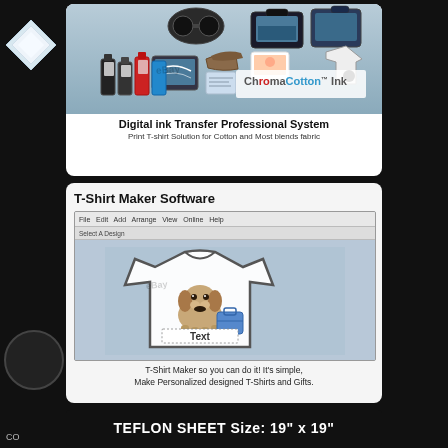[Figure (illustration): ChromaCotton Ink Digital ink Transfer Professional System advertisement showing various printed products (bags, t-shirts, accessories), ink bottles, and ChromaCotton logo]
Digital ink Transfer Professional System
Print T-shirt Solution for Cotton and Most blends fabric
[Figure (screenshot): T-Shirt Maker Software screenshot showing a software interface with a t-shirt design featuring a dog and text placeholder]
T-Shirt Maker so you can do it! It's simple, Make Personalized designed T-Shirts and Gifts.
TEFLON SHEET  Size: 19" x 19"